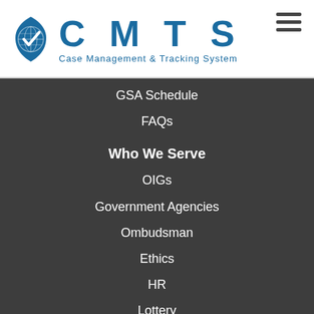[Figure (logo): CMTS Case Management & Tracking System logo with blue globe/shield checkmark icon and blue text]
GSA Schedule
FAQs
Who We Serve
OIGs
Government Agencies
Ombudsman
Ethics
HR
Lottery
Resources